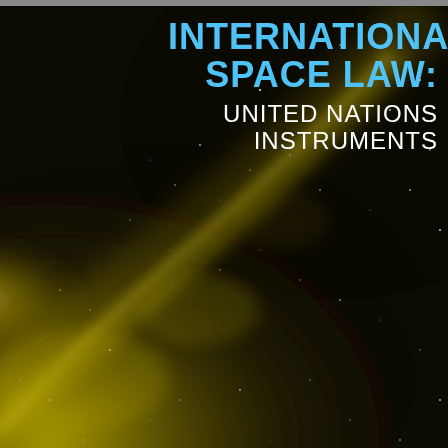[Figure (photo): Space/galaxy background image showing a spiral galaxy arm with golden/yellow nebula dust and stars against a dark black background]
INTERNATIONAL SPACE LAW: UNITED NATIONS INSTRUMENTS